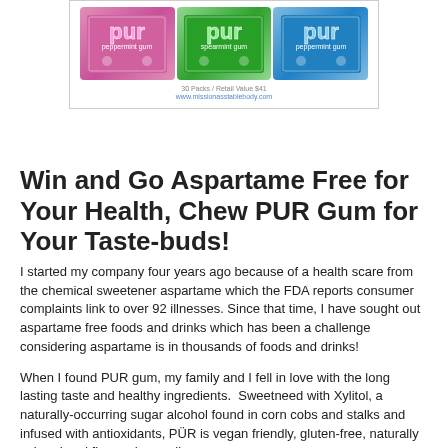[Figure (photo): Three packs of PUR gum shown side by side — pink (original), green (spearmint), and blue (peppermint) — displayed against a white background with small caption text below reading '30 Packs / Retail Value $41' and 'www.missionasstablebody.com']
Win and Go Aspartame Free for Your Health, Chew PUR Gum for Your Tastebuds!
I started my company four years ago because of a health scare from the chemical sweetener aspartame which the FDA reports consumer complaints link to over 92 illnesses. Since that time, I have sought out aspartame free foods and drinks which has been a challenge considering aspartame is in thousands of foods and drinks!
When I found PUR gum, my family and I fell in love with the long lasting taste and healthy ingredients.  Sweetneed with Xylitol, a naturally-occurring sugar alcohol found in corn cobs and stalks and infused with antioxidants, PÜR is vegan friendly, gluten-free, naturally colored and flavored as well as